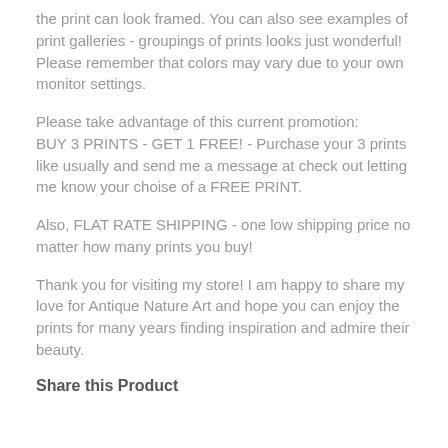the print can look framed. You can also see examples of print galleries - groupings of prints looks just wonderful! Please remember that colors may vary due to your own monitor settings.
Please take advantage of this current promotion: BUY 3 PRINTS - GET 1 FREE! - Purchase your 3 prints like usually and send me a message at check out letting me know your choise of a FREE PRINT.
Also, FLAT RATE SHIPPING - one low shipping price no matter how many prints you buy!
Thank you for visiting my store! I am happy to share my love for Antique Nature Art and hope you can enjoy the prints for many years finding inspiration and admire their beauty.
Share this Product